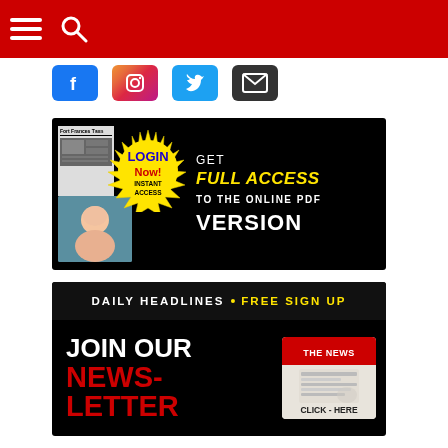[Figure (screenshot): Red navigation bar with hamburger menu icon and search icon]
[Figure (screenshot): Social media icons row: Facebook (blue), Instagram (gradient), Twitter (blue), Email (dark)]
[Figure (advertisement): Login banner: Fort Frances Times newspaper. LOGIN Now! INSTANT ACCESS starburst. GET FULL ACCESS TO THE ONLINE PDF VERSION]
[Figure (advertisement): Newsletter banner: DAILY HEADLINES • FREE SIGN UP. JOIN OUR NEWSLETTER. THE NEWS CLICK-HERE rolled newspaper graphic.]